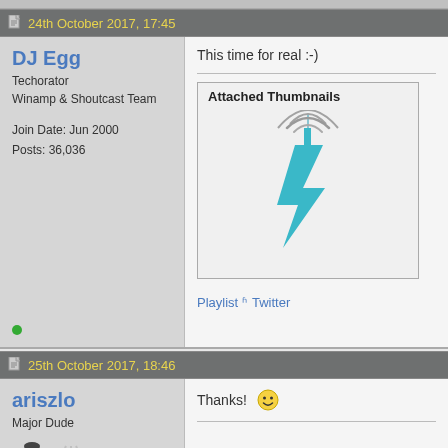24th October 2017, 17:45
DJ Egg
Techorator
Winamp & Shoutcast Team

Join Date: Jun 2000
Posts: 36,036
This time for real :-)
[Figure (illustration): Shoutcast logo: a teal/cyan lightning bolt with a wireless signal tower on top]
Playlist + Twitter
25th October 2017, 18:46
ariszlo
Major Dude
Thanks! 🙂